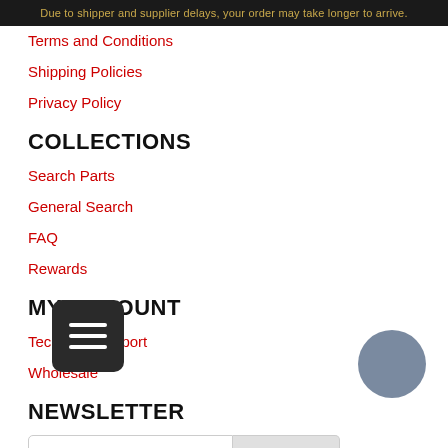Due to shipper and supplier delays, your order may take longer to arrive.
Terms and Conditions
Shipping Policies
Privacy Policy
COLLECTIONS
Search Parts
General Search
FAQ
Rewards
MY ACCOUNT
Technical Support
Wholesale
NEWSLETTER
Email address
Subscribe